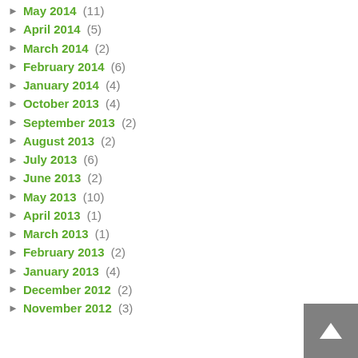May 2014 (11)
April 2014 (5)
March 2014 (2)
February 2014 (6)
January 2014 (4)
October 2013 (4)
September 2013 (2)
August 2013 (2)
July 2013 (6)
June 2013 (2)
May 2013 (10)
April 2013 (1)
March 2013 (1)
February 2013 (2)
January 2013 (4)
December 2012 (2)
November 2012 (3)